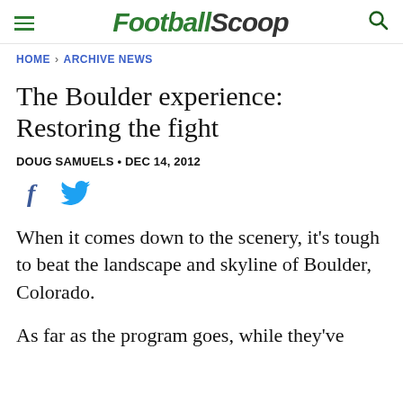FootballScoop
HOME › ARCHIVE NEWS
The Boulder experience: Restoring the fight
DOUG SAMUELS • DEC 14, 2012
[Figure (other): Social sharing icons: Facebook and Twitter]
When it comes down to the scenery, it's tough to beat the landscape and skyline of Boulder, Colorado.
As far as the program goes, while they've